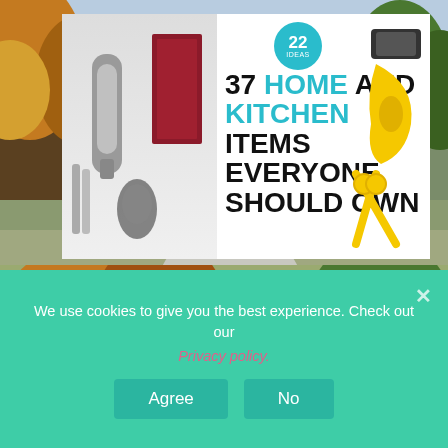[Figure (infographic): Advertisement banner: '37 HOME AND KITCHEN ITEMS EVERYONE SHOULD OWN' with kitchen product images and a '22' teal badge]
[Figure (photo): Outdoor autumn park photo with a large red sign featuring a white star, trees with fall foliage in background]
[Figure (infographic): Advertisement banner: '37 ITEMS PEOPLE LOVE TO PURCHASE ON AMAZON' with blue spray bottle images and a partial teal '22' badge, along with a gray CLOSE button]
We use cookies to give you the best experience. Check out our
Privacy policy.
Agree
No